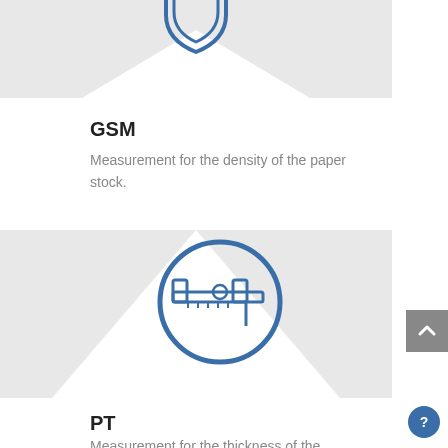[Figure (illustration): Partial view of a shield/security icon in a blue outline on a white diamond shape, on a light grey background. The top portion is cropped.]
GSM
Measurement for the density of the paper stock.
[Figure (illustration): A caliper/measurement tool icon in a blue outline circle, on a white diamond shape, on a light grey background.]
PT
Measurement for the thickness of the